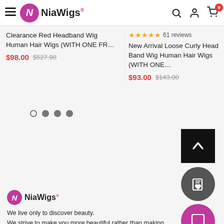NiaWigs® — navigation header with hamburger menu, logo, search, user, and cart icons
Clearance Red Headband Wig Human Hair Wigs (WITH ONE FR…
$98.00 $527.98
★★★★★ 61 reviews
New Arrival Loose Curly Head Band Wig Human Hair Wigs (WITH ONE…
$93.00 $143.00
[Figure (other): Carousel navigation dots — one empty circle and three filled gray circles]
[Figure (other): Black square back-to-top button with upward chevron arrow icon]
[Figure (other): Dark gray circular button with shopping bag and heart icon (wishlist)]
[Figure (other): Magenta/pink circular chat button with speech bubble icon]
[Figure (logo): NiaWigs® footer logo — magenta circle with N and text NiaWigs®]
We live only to discover beauty.
We strive to make you more beautiful rather than making wigs.
Since you deserve it!